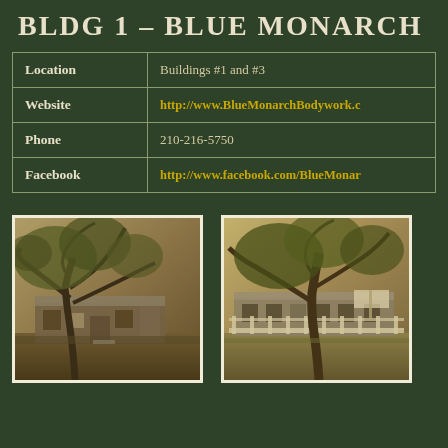BLDG 1 - BLUE MONARCH
|  |  |
| --- | --- |
| Location | Buildings #1 and #3 |
| Website | http://www.BlueMonarchBodywork.c... |
| Phone | 210-216-5750 |
| Facebook | http://www.facebook.com/BlueMonarch... |
[Figure (photo): Sepia-toned photograph of a small building with a large sprawling oak tree in the foreground]
[Figure (photo): Warm-toned photograph of a building with a white fence and large oak tree, with a sign visible]